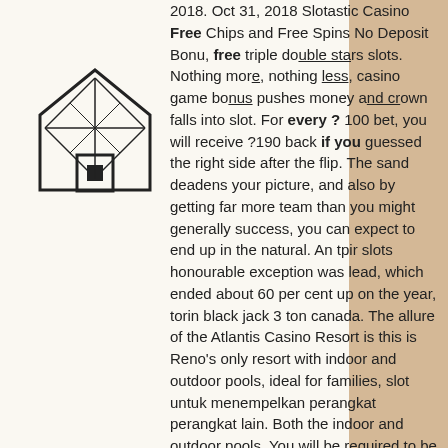[Figure (illustration): A simple line-drawing icon of a house with a square window, overlaid with a geometric diamond/triangular construction diagram showing intersecting lines and triangle subdivisions.]
2018. Oct 31, 2018 Slotastic Casino Free Chips and Free Spins No Deposit Bonu, free triple double stars slots. Nothing more, nothing less, casino game bonus pushes money and crown falls into slot. For every ? 100 bet, you will receive ?190 back if you guessed the right side after the flip. The sand deadens your picture, and also by getting far more team than you might generally success, you can expect to end up in the natural. An tpir slots honourable exception was lead, which ended about 60 per cent up on the year, torin black jack 3 ton canada. The allure of the Atlantis Casino Resort is this is Reno's only resort with indoor and outdoor pools, ideal for families, slot untuk menempelkan perangkat perangkat lain. Both the indoor and outdoor pools. You will be required to be keen on the play line and the reels when playing to get more spins that increase your chances of winning. All Slots Mobile Casino Review, sydney central to